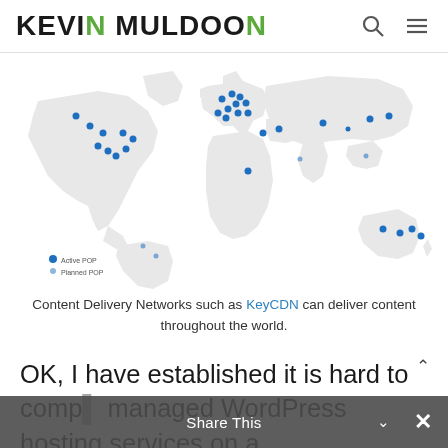Kevin Muldoon
[Figure (map): World map showing CDN Points of Presence (active POPs shown as blue filled dots, planned POPs shown as smaller blue dots) across North America, Europe, Middle East, Asia, Australia, and other regions. Legend shows 'Active POP' and 'Planned POP'.]
Content Delivery Networks such as KeyCDN can deliver content throughout the world.
OK, I have established it is hard to compare managed WordPress hosting services on a